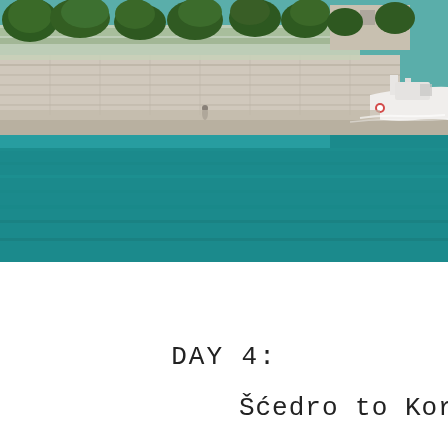[Figure (photo): Coastal scene showing turquoise/teal water in the foreground with a stone seawall and terraced embankment in the background, trees and buildings behind the wall, and the bow of a white boat visible on the right side.]
DAY 4:
Šćedro to Korčula